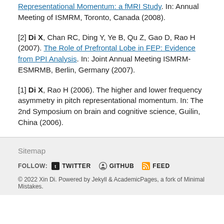Representational Momentum: a fMRI Study. In: Annual Meeting of ISMRM, Toronto, Canada (2008).
[2] Di X, Chan RC, Ding Y, Ye B, Qu Z, Gao D, Rao H (2007). The Role of Prefrontal Lobe in FEP: Evidence from PPI Analysis. In: Joint Annual Meeting ISMRM-ESMRMB, Berlin, Germany (2007).
[1] Di X, Rao H (2006). The higher and lower frequency asymmetry in pitch representational momentum. In: The 2nd Symposium on brain and cognitive science, Guilin, China (2006).
Sitemap
FOLLOW: TWITTER GITHUB FEED
© 2022 Xin Di. Powered by Jekyll & AcademicPages, a fork of Minimal Mistakes.